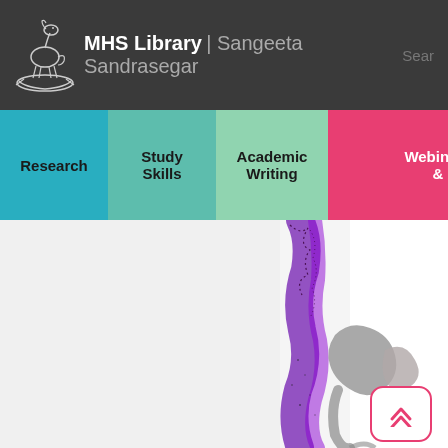MHS Library | Sangeeta Sandrasegar  Sear
Research
Study Skills
Academic Writing
Reading
Webinars &
[Figure (illustration): Partial view of an artwork featuring abstract brush strokes in purple/black ink and a grey organic shape resembling a bird or animal form on a white background.]